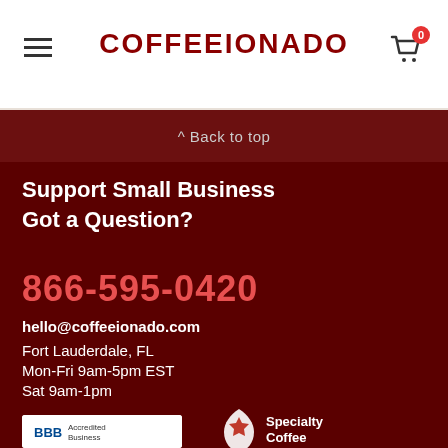COFFEEIONADO
^ Back to top
Support Small Business
Got a Question?
866-595-0420
hello@coffeeionado.com
Fort Lauderdale, FL
Mon-Fri 9am-5pm EST
Sat 9am-1pm
[Figure (logo): BBB logo white on white background]
[Figure (logo): Specialty Coffee association emblem with text 'Specialty Coffee']